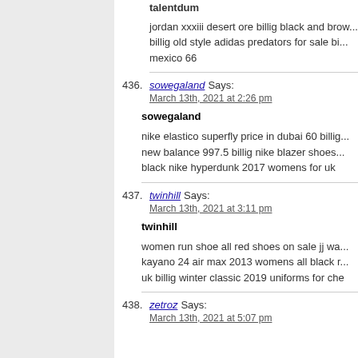talentdum
jordan xxxiii desert ore billig black and brow... billig old style adidas predators for sale bi... mexico 66
436. sowegaland Says: March 13th, 2021 at 2:26 pm
sowegaland
nike elastico superfly price in dubai 60 billig... new balance 997.5 billig nike blazer shoes... black nike hyperdunk 2017 womens for uk
437. twinhill Says: March 13th, 2021 at 3:11 pm
twinhill
women run shoe all red shoes on sale jj wa... kayano 24 air max 2013 womens all black r... uk billig winter classic 2019 uniforms for che
438. zetroz Says: March 13th, 2021 at 5:07 pm